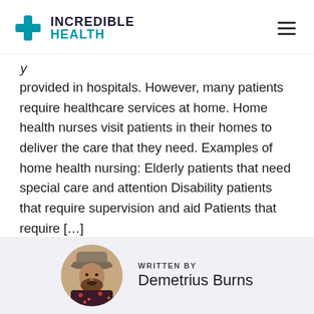[Figure (logo): Incredible Health logo with teal cross icon on the left and hamburger menu icon on the right]
provided in hospitals. However, many patients require healthcare services at home. Home health nurses visit patients in their homes to deliver the care that they need. Examples of home health nursing: Elderly patients that need special care and attention Disability patients that require supervision and aid Patients that require […]
[Figure (photo): Circular profile photo of Demetrius Burns, a man wearing a hat and a floral shirt]
WRITTEN BY
Demetrius Burns